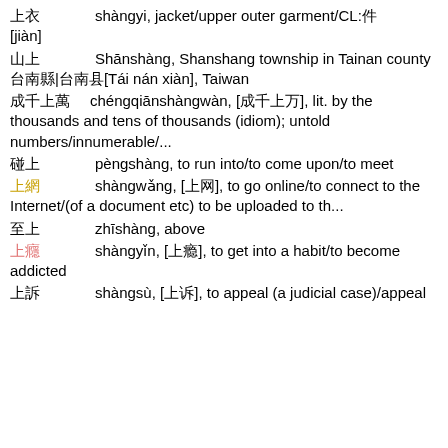上衣  shàngyi, jacket/upper outer garment/CL:件[jiàn]
山上  Shānshàng, Shanshang township in Tainan county 台南縣|台南县[Tái nán xiàn], Taiwan
成千上萬  chéngqiānshàngwàn, [成千上万], lit. by the thousands and tens of thousands (idiom); untold numbers/innumerable/...
碰上  pèngshàng, to run into/to come upon/to meet
上網  shàngwǎng, [上网], to go online/to connect to the Internet/(of a document etc) to be uploaded to th...
至上  zhīshàng, above
上癮  shàngyǐn, [上瘾], to get into a habit/to become addicted
上訴  shàngsù, [上诉], to appeal (a judicial case)/appeal